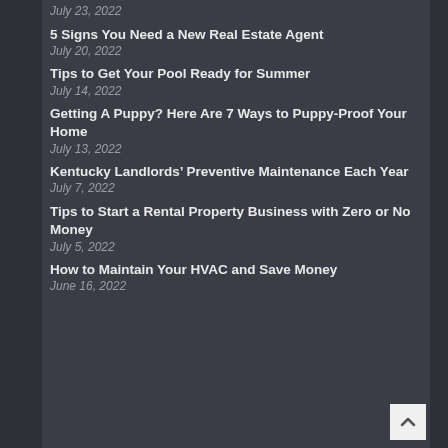July 23, 2022
5 Signs You Need a New Real Estate Agent
July 20, 2022
Tips to Get Your Pool Ready for Summer
July 14, 2022
Getting A Puppy? Here Are 7 Ways to Puppy-Proof Your Home
July 13, 2022
Kentucky Landlords’ Preventive Maintenance Each Year
July 7, 2022
Tips to Start a Rental Property Business with Zero or No Money
July 5, 2022
How to Maintain Your HVAC and Save Money
June 16, 2022